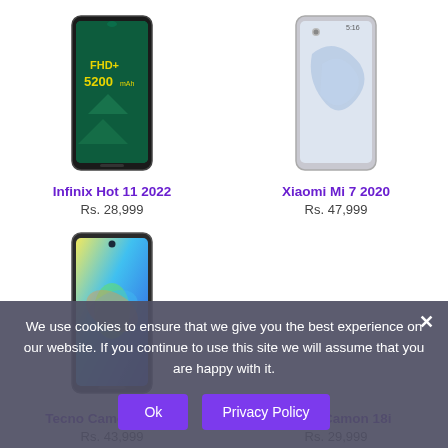[Figure (photo): Infinix Hot 11 2022 smartphone front view showing FHD+ 5200mAh display]
Infinix Hot 11 2022
Rs. 28,999
[Figure (photo): Xiaomi Mi 7 2020 smartphone front view light blue/white color]
Xiaomi Mi 7 2020
Rs. 47,999
[Figure (photo): Tecno Camon 18 Pro smartphone front view with colorful wallpaper]
Tecno Camon 18 Pro
Rs. 43,999
Tecno Camon 18i
Rs. 29,999
We use cookies to ensure that we give you the best experience on our website. If you continue to use this site we will assume that you are happy with it.
Ok
Privacy Policy